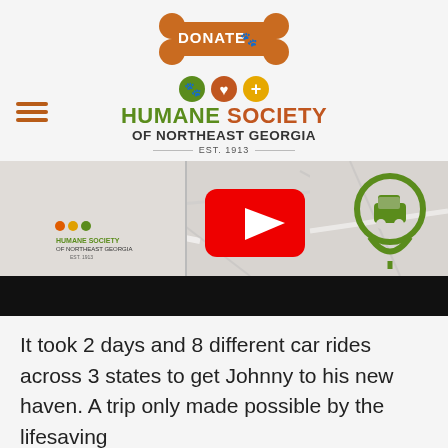[Figure (logo): Humane Society of Northeast Georgia donate button - orange dog bone shape with white text DONATE and paw print icon]
[Figure (logo): Humane Society of Northeast Georgia logo with three colored icons (paw, heart, plus) and organization name and EST. 1913]
[Figure (screenshot): Screenshot showing Humane Society of Northeast Georgia webpage with map and car location pin icon, and a YouTube play button, with black bar at bottom]
It took 2 days and 8 different car rides across 3 states to get Johnny to his new haven. A trip only made possible by the lifesaving